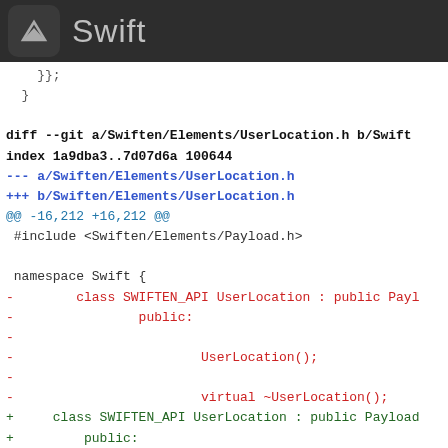Swift
};
  }
diff --git a/Swiften/Elements/UserLocation.h b/Swiften/Elements/UserLocation.h
index 1a9dba3..7d07d6a 100644
--- a/Swiften/Elements/UserLocation.h
+++ b/Swiften/Elements/UserLocation.h
@@ -16,212 +16,212 @@
 #include <Swiften/Elements/Payload.h>

 namespace Swift {
-        class SWIFTEN_API UserLocation : public Payload
-                public:
-
-                        UserLocation();
-
-                        virtual ~UserLocation();
+     class SWIFTEN_API UserLocation : public Payload
+         public: